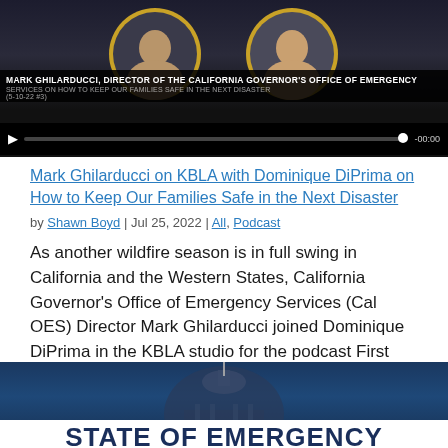[Figure (screenshot): Video thumbnail showing a podcast episode with Mark Ghilarducci, Director of the California Governor's Office of Emergency Services, with two people visible in circles, a dark background, and video player controls at the bottom showing -00:00]
Mark Ghilarducci on KBLA with Dominique DiPrima on How to Keep Our Families Safe in the Next Disaster
by Shawn Boyd | Jul 25, 2022 | All, Podcast
As another wildfire season is in full swing in California and the Western States, California Governor's Office of Emergency Services (Cal OES) Director Mark Ghilarducci joined Dominique DiPrima in the KBLA studio for the podcast First Things First.  He and DiPrima…
[Figure (photo): Photo of California State Capitol building dome against blue sky, with overlay text 'STATE OF EMERGENCY DECLARED']